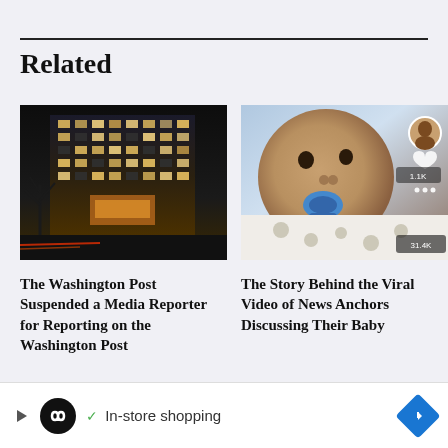Related
[Figure (photo): Nighttime photo of the Washington Post building, a tall office building lit from within with golden light, bare trees in foreground, traffic light trails on street]
The Washington Post Suspended a Media Reporter for Reporting on the Washington Post
[Figure (photo): Close-up photo of a baby with a pacifier wearing a white onesie with animal print, lying down, small circular avatar and UI elements overlay visible]
The Story Behind the Viral Video of News Anchors Discussing Their Baby
[Figure (other): Advertisement bar with play icon, black circle logo with infinity symbol, checkmark and 'In-store shopping' text, blue diamond arrow icon]